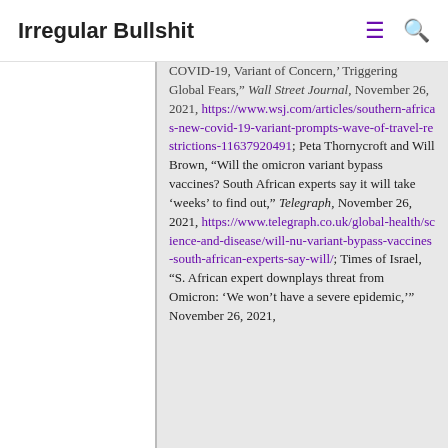Irregular Bullshit
COVID-19, Variant of Concern,' Triggering Global Fears," Wall Street Journal, November 26, 2021, https://www.wsj.com/articles/southern-africas-new-covid-19-variant-prompts-wave-of-travel-restrictions-11637920491; Peta Thornycroft and Will Brown, “Will the omicron variant bypass vaccines? South African experts say it will take ‘weeks’ to find out,” Telegraph, November 26, 2021, https://www.telegraph.co.uk/global-health/science-and-disease/will-nu-variant-bypass-vaccines-south-african-experts-say-will/; Times of Israel, “S. African expert downplays threat from Omicron: ‘We won’t have a severe epidemic,’” November 26, 2021,